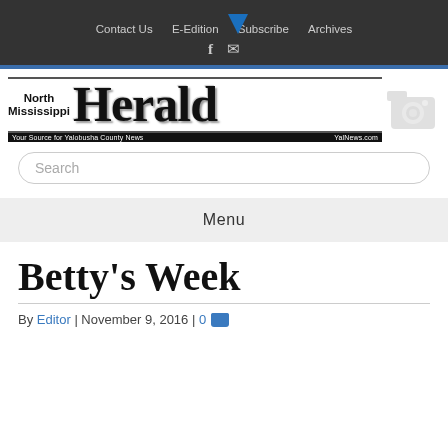Contact Us   E-Edition   Subscribe   Archives
[Figure (logo): North Mississippi Herald newspaper logo with tagline 'Your Source for Yalobusha County News' and YalNews.com]
Search
Menu
Betty's Week
By Editor | November 9, 2016 | 0